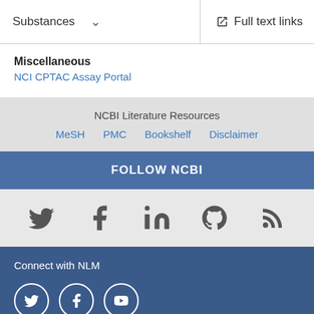Substances   Full text links
Miscellaneous
NCI CPTAC Assay Portal
NCBI Literature Resources
MeSH  PMC  Bookshelf  Disclaimer
FOLLOW NCBI
[Figure (infographic): Social media icons: Twitter, Facebook, LinkedIn, GitHub, RSS]
Connect with NLM
[Figure (infographic): Social media circle icons: Twitter, Facebook, YouTube]